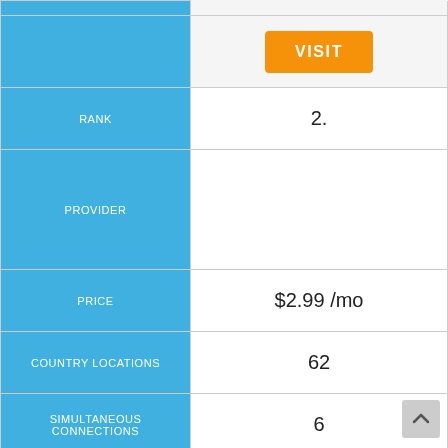| Field | Value |
| --- | --- |
|  | VISIT |
| RANK | 2. |
| PROVIDER |  |
| PRICE | $2.99 /mo |
| COUNTRY LOCATIONS | 62 |
| SIMULTANEOUS CONNECTIONS | 6 |
|  | VISIT |